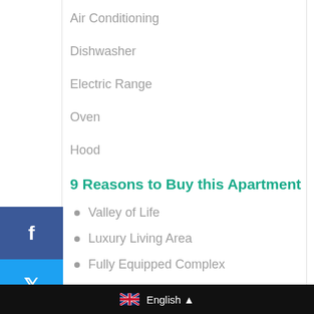Air Conditioning
Dishwasher
Electric Range
Oven
Hood
9 Reasons to Buy this Apartment
Valley of Life
Luxury Living Area
Fully Equipped Complex
European Life
English